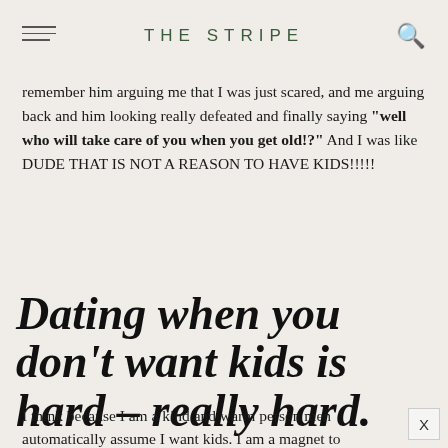THE STRIPE
remember him arguing me that I was just scared, and me arguing back and him looking really defeated and finally saying "well who will take care of you when you get old!?" And I was like DUDE THAT IS NOT A REASON TO HAVE KIDS!!!!!
Dating when you don't want kids is hard – really hard.
I think because I am a kind and warm person men automatically assume I want kids. I am a magnet to